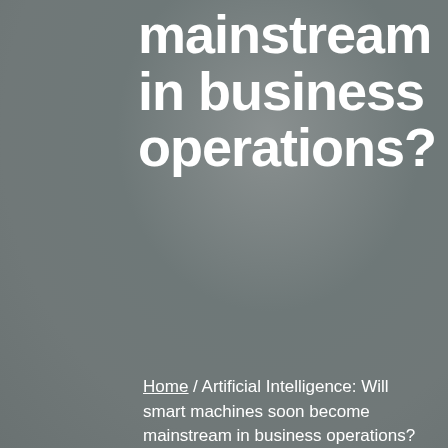mainstream in business operations?
Home / Artificial Intelligence: Will smart machines soon become mainstream in business operations?